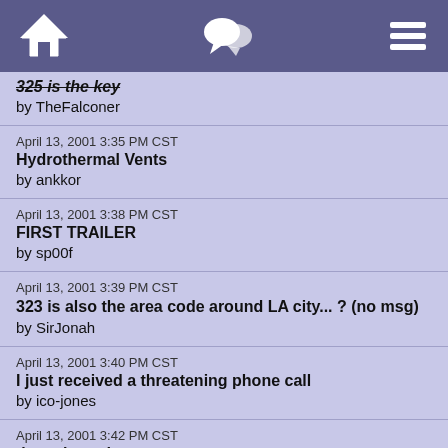[Figure (screenshot): Navigation header bar with home icon, chat/speech bubble icon, and hamburger menu icon on purple background]
325 is the key
by TheFalconer
April 13, 2001 3:35 PM CST
Hydrothermal Vents
by ankkor
April 13, 2001 3:38 PM CST
FIRST TRAILER
by sp00f
April 13, 2001 3:39 PM CST
323 is also the area code around LA city... ? (no msg)
by SirJonah
April 13, 2001 3:40 PM CST
I just received a threatening phone call
by ico-jones
April 13, 2001 3:42 PM CST
they phoned me too
by BionicGirl
April 13, 2001 3:43 PM CST
haiku